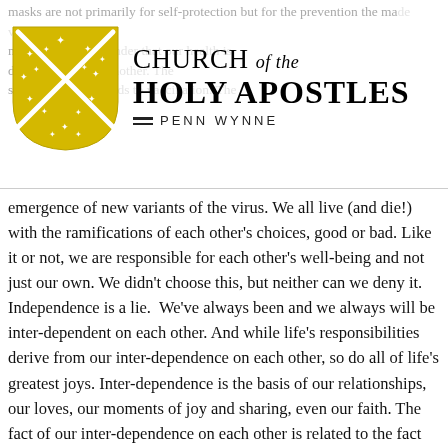[Figure (logo): Church of the Holy Apostles logo with yellow/gold heraldic shield and church name text]
emergence of new variants of the virus. We all live (and die!) with the ramifications of each other's choices, good or bad. Like it or not, we are responsible for each other's well-being and not just our own. We didn't choose this, but neither can we deny it. Independence is a lie.  We've always been and we always will be inter-dependent on each other. And while life's responsibilities derive from our inter-dependence on each other, so do all of life's greatest joys. Inter-dependence is the basis of our relationships, our loves, our moments of joy and sharing, even our faith. The fact of our inter-dependence on each other is related to the fact that we are our dependent on God.